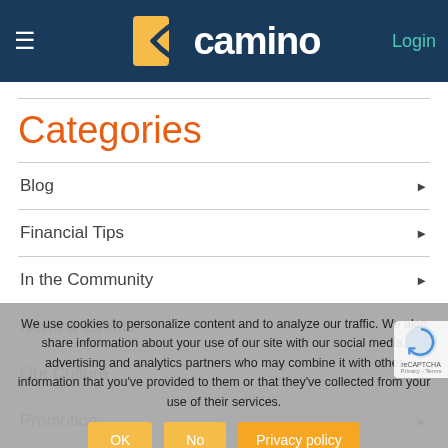Camino - Login
Categories
Blog
Financial Tips
In the Community
News & Events
Our Culture
Promotion
Uncategorized
We use cookies to personalize content and to analyze our traffic. We also share information about your use of our site with our social media, advertising and analytics partners who may combine it with other information that you've provided to them or that they've collected from your use of their services.
OK  No  Privacy policy